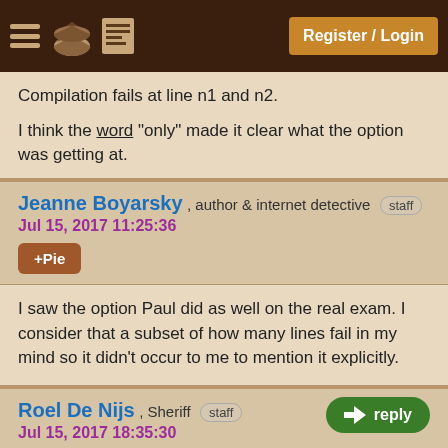Register / Login
Compilation fails at line n1 and n2.
I think the word "only" made it clear what the option was getting at.
Jeanne Boyarsky , author & internet detective staff
Jul 15, 2017 11:25:36
+Pie
I saw the option Paul did as well on the real exam. I consider that a subset of how many lines fail in my mind so it didn't occur to me to mention it explicitly.
Roel De Nijs , Sheriff staff
Jul 15, 2017 18:35:30
+Pie
reply